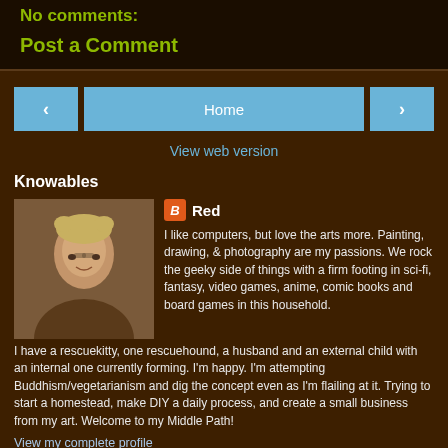No comments:
Post a Comment
‹
Home
›
View web version
Knowables
[Figure (photo): Profile photo of Red, a woman with short blonde hair and glasses]
Red
I like computers, but love the arts more. Painting, drawing, & photography are my passions. We rock the geeky side of things with a firm footing in sci-fi, fantasy, video games, anime, comic books and board games in this household. I have a rescuekitty, one rescuehound, a husband and an external child with an internal one currently forming. I'm happy. I'm attempting Buddhism/vegetarianism and dig the concept even as I'm flailing at it. Trying to start a homestead, make DIY a daily process, and create a small business from my art. Welcome to my Middle Path!
View my complete profile
Powered by Blogger.